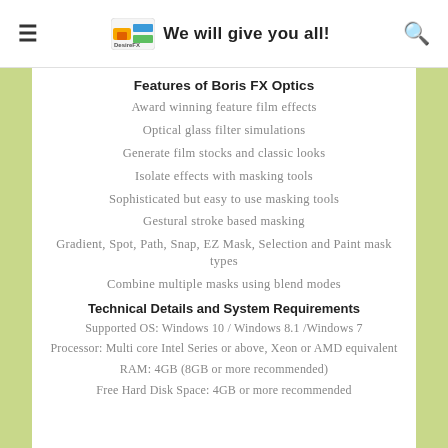We will give you all!
Features of Boris FX Optics
Award winning feature film effects
Optical glass filter simulations
Generate film stocks and classic looks
Isolate effects with masking tools
Sophisticated but easy to use masking tools
Gestural stroke based masking
Gradient, Spot, Path, Snap, EZ Mask, Selection and Paint mask types
Combine multiple masks using blend modes
Technical Details and System Requirements
Supported OS: Windows 10 / Windows 8.1 /Windows 7
Processor: Multi core Intel Series or above, Xeon or AMD equivalent
RAM: 4GB (8GB or more recommended)
Free Hard Disk Space: 4GB or more recommended